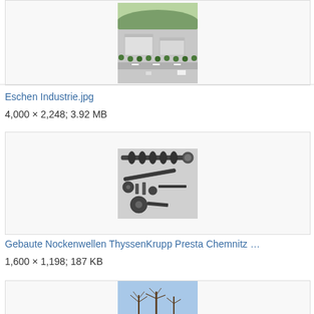[Figure (photo): Aerial view of an industrial facility with trees lining a road, partially visible at top of page]
Eschen Industrie.jpg
4,000 × 2,248; 3.92 MB
[Figure (photo): Camshafts and engine components (Gebaute Nockenwellen) from ThyssenKrupp Presta Chemnitz, showing assembled camshafts on grey background]
Gebaute Nockenwellen ThyssenKrupp Presta Chemnitz …
1,600 × 1,198; 187 KB
[Figure (photo): Partially visible photo showing bare trees against a blue sky, third image entry cut off at bottom of page]